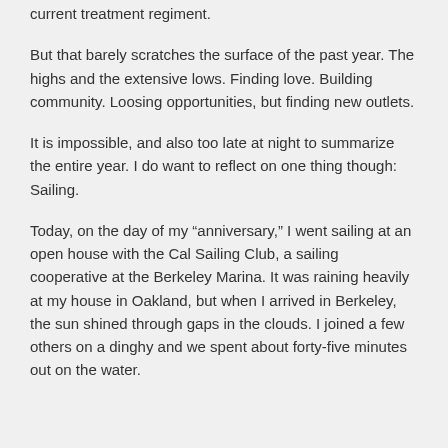current treatment regiment.
But that barely scratches the surface of the past year. The highs and the extensive lows. Finding love. Building community. Loosing opportunities, but finding new outlets.
It is impossible, and also too late at night to summarize the entire year. I do want to reflect on one thing though: Sailing.
Today, on the day of my "anniversary," I went sailing at an open house with the Cal Sailing Club, a sailing cooperative at the Berkeley Marina. It was raining heavily at my house in Oakland, but when I arrived in Berkeley, the sun shined through gaps in the clouds. I joined a few others on a dinghy and we spent about forty-five minutes out on the water.